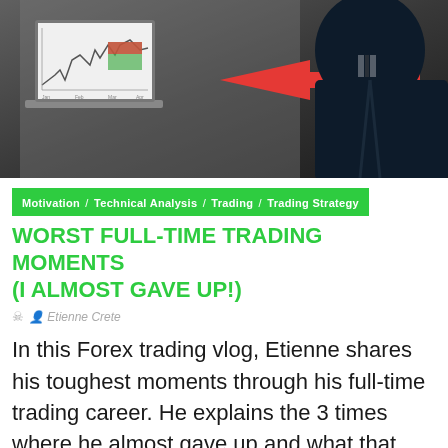[Figure (photo): A person sitting in front of a laptop showing a trading chart with a large red arrow pointing to it]
Motivation / Technical Analysis / Trading / Trading Strategy
WORST FULL-TIME TRADING MOMENTS (I ALMOST GAVE UP!)
Etienne Crete
In this Forex trading vlog, Etienne shares his toughest moments through his full-time trading career. He explains the 3 times where he almost gave up and what that taught him about becoming a ...